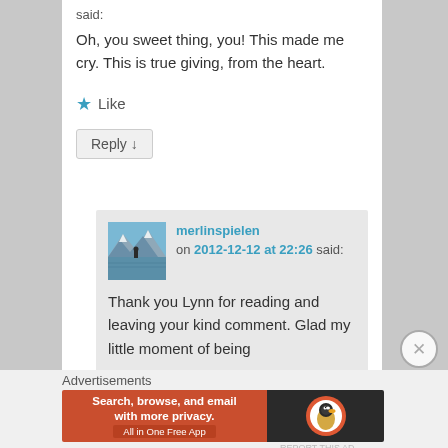said:
Oh, you sweet thing, you! This made me cry. This is true giving, from the heart.
★ Like
Reply ↓
[Figure (photo): Small avatar photo of a person standing by a mountain lake with snowy peaks in the background]
merlinspielen on 2012-12-12 at 22:26 said:
Thank you Lynn for reading and leaving your kind comment. Glad my little moment of being
Advertisements
[Figure (screenshot): DuckDuckGo advertisement banner: 'Search, browse, and email with more privacy. All in One Free App' with DuckDuckGo logo on dark background]